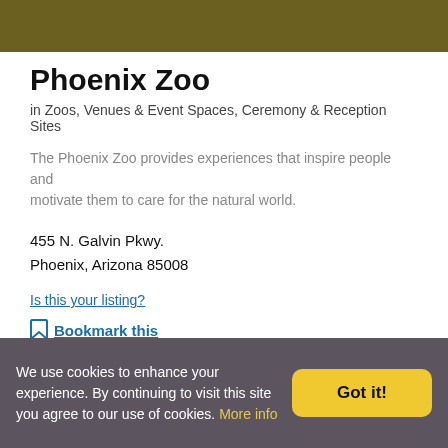[Figure (photo): Dark olive/brown colored banner image at the top of the page]
Phoenix Zoo
in Zoos, Venues & Event Spaces, Ceremony & Reception Sites
The Phoenix Zoo provides experiences that inspire people and motivate them to care for the natural world.
455 N. Galvin Pkwy.
Phoenix, Arizona 85008
Is this your listing?
Bookmark this
[Figure (other): Five empty/outlined star icons for rating]
Review this
We use cookies to enhance your experience. By continuing to visit this site you agree to our use of cookies. More info